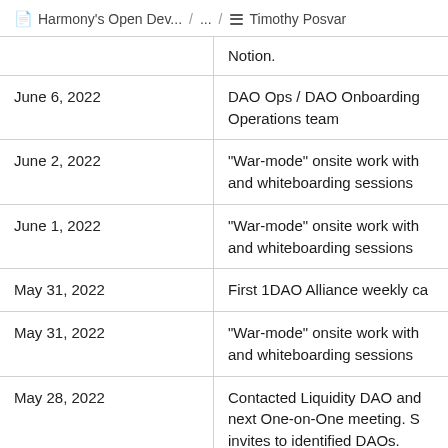Harmony's Open Dev... / ... / Timothy Posvar
| Date | Description |
| --- | --- |
|  | Notion. |
| June 6, 2022 | DAO Ops / DAO Onboarding Operations team |
| June 2, 2022 | "War-mode" onsite work with and whiteboarding sessions |
| June 1, 2022 | "War-mode" onsite work with and whiteboarding sessions |
| May 31, 2022 | First 1DAO Alliance weekly ca |
| May 31, 2022 | "War-mode" onsite work with and whiteboarding sessions |
| May 28, 2022 | Contacted Liquidity DAO and next One-on-One meeting. S invites to identified DAOs. |